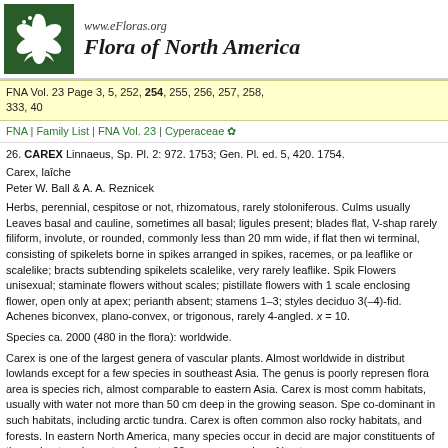[Figure (logo): eFloras logo: dark green square with white flower/plant illustration]
www.eFloras.org
Flora of North America
FNA Vol. 23 Page 3, 5, 252, 254, 255, 256, 257, 258, 333, 40
FNA | Family List | FNA Vol. 23 | Cyperaceae ✿
26. CAREX Linnaeus, Sp. Pl. 2: 972. 1753; Gen. Pl. ed. 5, 420. 1754.
Carex, laîche
Peter W. Ball & A. A. Reznicek
Herbs, perennial, cespitose or not, rhizomatous, rarely stoloniferous. Culms usually terminal, consisting of spikelets borne in spikes arranged in spikes, racemes, or panicles; bracts leaflike or scalelike; bracts subtending spikelets scalelike, very rarely leaflike. Flowers unisexual; staminate flowers without scales; pistillate flowers with 1 scale enclosing flower, open only at apex; perianth absent; stamens 1–3; styles deciduous, 3(–4)-fid. Achenes biconvex, plano-convex, or trigonous, rarely 4-angled. x = 10.
Species ca. 2000 (480 in the flora): worldwide.
Carex is one of the largest genera of vascular plants. Almost worldwide in distribution in lowlands except for a few species in southeast Asia. The genus is poorly represented; flora area is species rich, almost comparable to eastern Asia. Carex is most common in habitats, usually with water not more than 50 cm deep in the growing season. Species co-dominant in such habitats, including arctic tundra. Carex is often common also in rocky habitats, and forests. In eastern North America, many species occur in deciduous forests and are major constituents of the understory. In eastern forests, 20 or more species of hectares.